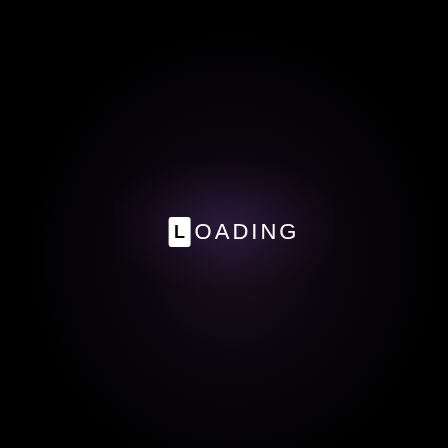[Figure (screenshot): Dark loading screen with black background and a subtle purple/blue radial glow behind the center text. Center shows a white rounded rectangle containing the letter 'L' followed by the text 'OADING' in white uppercase letters with letter-spacing, forming the word 'LOADING'.]